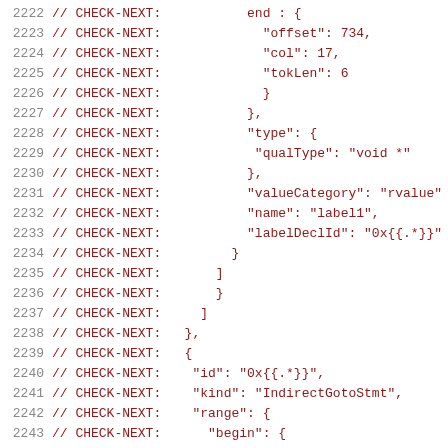2222 // CHECK-NEXT:           end : {
2223 // CHECK-NEXT:             "offset": 734,
2224 // CHECK-NEXT:             "col": 17,
2225 // CHECK-NEXT:             "tokLen": 6
2226 // CHECK-NEXT:             }
2227 // CHECK-NEXT:           },
2228 // CHECK-NEXT:           "type": {
2229 // CHECK-NEXT:            "qualType": "void *"
2230 // CHECK-NEXT:           },
2231 // CHECK-NEXT:           "valueCategory": "rvalue"
2232 // CHECK-NEXT:           "name": "label1",
2233 // CHECK-NEXT:           "labelDeclId": "0x{{.*}}"
2234 // CHECK-NEXT:         }
2235 // CHECK-NEXT:       ]
2236 // CHECK-NEXT:       }
2237 // CHECK-NEXT:     ]
2238 // CHECK-NEXT:   },
2239 // CHECK-NEXT:   {
2240 // CHECK-NEXT:    "id": "0x{{.*}}",
2241 // CHECK-NEXT:    "kind": "IndirectGotoStmt",
2242 // CHECK-NEXT:    "range": {
2243 // CHECK-NEXT:      "begin": {